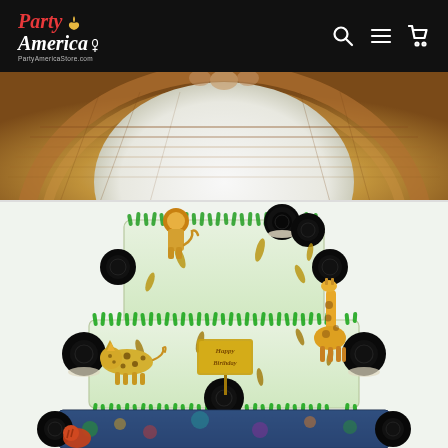Party America — PartyAmericaStore.com — Navigation with search, menu, and cart icons
[Figure (photo): Top portion of a wicker/rattan round table or tray with a white circular surface, photographed from above, partial view cropped at top]
[Figure (photo): Three-tier birthday cake decorated with green grass-style frosting, plastic safari animal figurines (lion on top tier, giraffe and cheetah/leopard on middle tier), Oreo cookies, gold feather decorations, and a gold 'Happy Birthday' cake topper. The bottom tier features a jungle-themed design with colorful printed animals.]